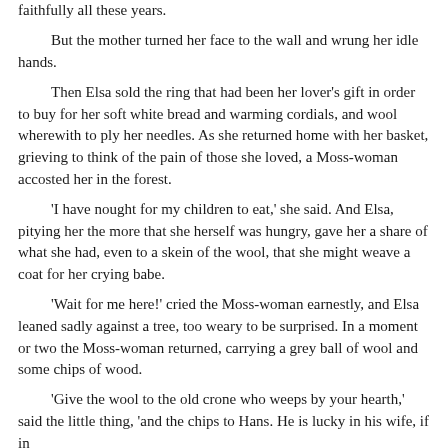faithfully all these years.
But the mother turned her face to the wall and wrung her idle hands.
Then Elsa sold the ring that had been her lover's gift in order to buy for her soft white bread and warming cordials, and wool wherewith to ply her needles. As she returned home with her basket, grieving to think of the pain of those she loved, a Moss-woman accosted her in the forest.
'I have nought for my children to eat,' she said. And Elsa, pitying her the more that she herself was hungry, gave her a share of what she had, even to a skein of the wool, that she might weave a coat for her crying babe.
'Wait for me here!' cried the Moss-woman earnestly, and Elsa leaned sadly against a tree, too weary to be surprised. In a moment or two the Moss-woman returned, carrying a grey ball of wool and some chips of wood.
'Give the wool to the old crone who weeps by your hearth,' said the little thing, 'and the chips to Hans. He is lucky in his wife, if in no else.'